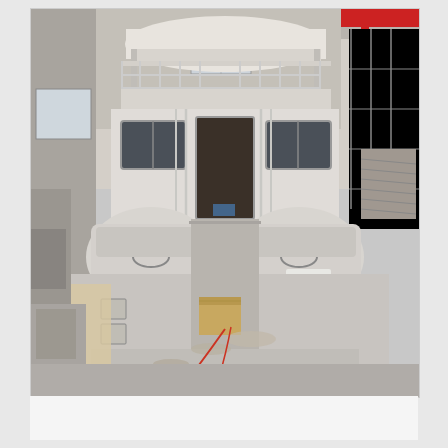[Figure (photo): A large catamaran or power boat under construction inside an industrial shipyard/factory. The boat is white fiberglass, viewed from the stern. The main deck shows an open cockpit area with a cardboard box and construction debris on the floor. The cabin has windows and a central entrance door. Above the cabin is a flybridge with railings. Red overhead crane visible in the background. The factory has large windows and scaffolding. The boat appears to be in mid-construction with unfinished surfaces.]